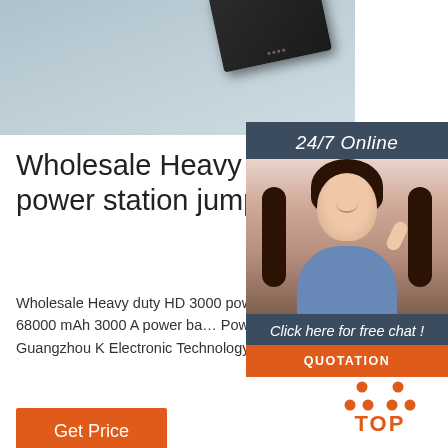[Figure (photo): Product photo of a heavy duty jump starter device on a light blue-grey background]
Wholesale Heavy duty H 3000 power station jump starter ...
Wholesale Heavy duty HD 3000 power station jump starter 68000 mAh 3000 A power bank Powerforce car booster from Guangzhou K Electronic Technology Co., Ltd. on m.aliba...
[Figure (infographic): 24/7 Online chat overlay panel with agent photo, 'Click here for free chat!' text, and QUOTATION button]
[Figure (other): Get Price orange button]
[Figure (logo): TOP logo with orange dots in triangle pattern above orange text 'TOP']